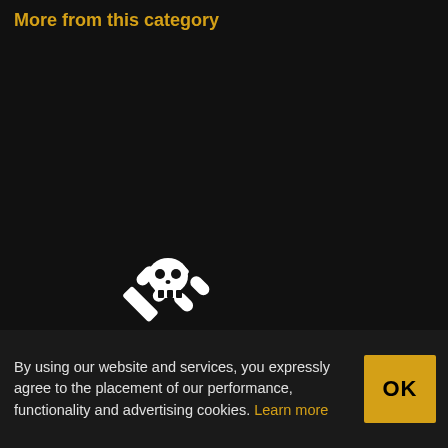More from this category
[Figure (logo): Skull with crossed wrenches icon above the text NEVER MISS A HACK, followed by social media icons (Facebook, Twitter, YouTube, RSS, Email) on dark background]
By using our website and services, you expressly agree to the placement of our performance, functionality and advertising cookies. Learn more